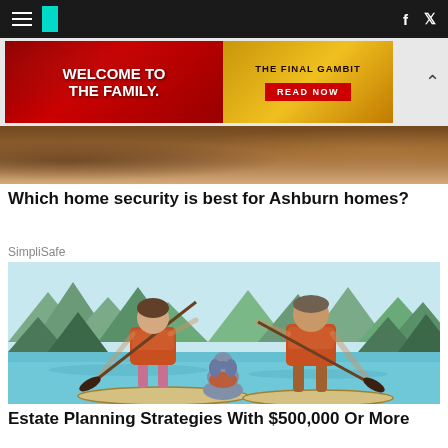HuffPost navigation with logo, hamburger menu, Facebook and Twitter icons
[Figure (illustration): Advertisement banner: 'Welcome to the Family. The Final Gambit - Read Now']
[Figure (photo): Partial home interior image]
Which home security is best for Ashburn homes?
SimpliSafe
[Figure (illustration): Illustration of two people and a dog paddle boarding on a lake with forested background]
Estate Planning Strategies With $500,000 Or More